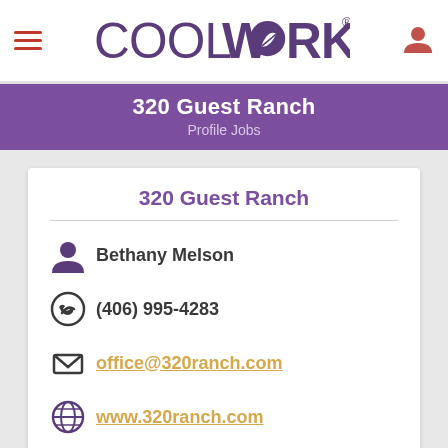[Figure (logo): CoolWorks logo with hamburger menu icon on left and user icon on right]
320 Guest Ranch
Profile Jobs
320 Guest Ranch
Bethany Melson
(406) 995-4283
office@320ranch.com
www.320ranch.com
APPLY HERE